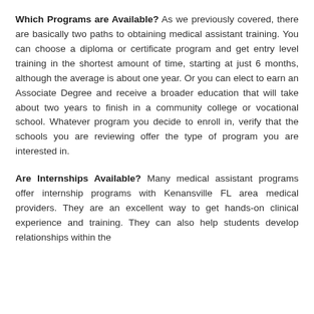Which Programs are Available? As we previously covered, there are basically two paths to obtaining medical assistant training. You can choose a diploma or certificate program and get entry level training in the shortest amount of time, starting at just 6 months, although the average is about one year. Or you can elect to earn an Associate Degree and receive a broader education that will take about two years to finish in a community college or vocational school. Whatever program you decide to enroll in, verify that the schools you are reviewing offer the type of program you are interested in.
Are Internships Available? Many medical assistant programs offer internship programs with Kenansville FL area medical providers. They are an excellent way to get hands-on clinical experience and training. They can also help students develop relationships within the...